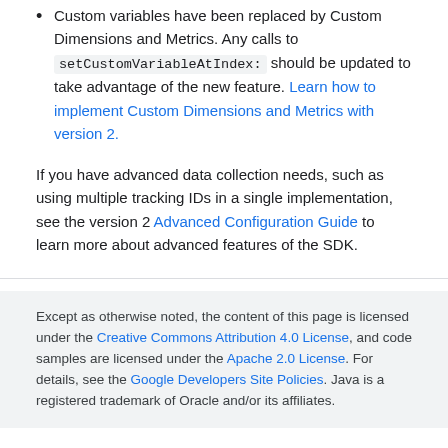Custom variables have been replaced by Custom Dimensions and Metrics. Any calls to setCustomVariableAtIndex: should be updated to take advantage of the new feature. Learn how to implement Custom Dimensions and Metrics with version 2.
If you have advanced data collection needs, such as using multiple tracking IDs in a single implementation, see the version 2 Advanced Configuration Guide to learn more about advanced features of the SDK.
Except as otherwise noted, the content of this page is licensed under the Creative Commons Attribution 4.0 License, and code samples are licensed under the Apache 2.0 License. For details, see the Google Developers Site Policies. Java is a registered trademark of Oracle and/or its affiliates.